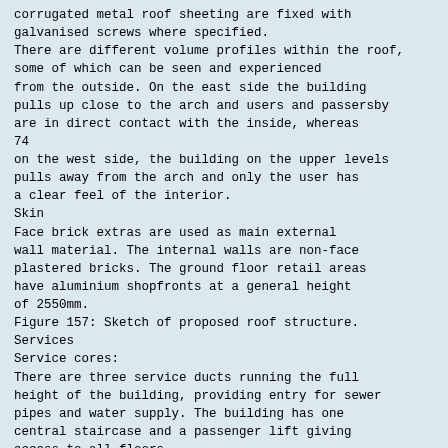corrugated metal roof sheeting are fixed with galvanised screws where specified.
There are different volume profiles within the roof, some of which can be seen and experienced from the outside. On the east side the building pulls up close to the arch and users and passersby are in direct contact with the inside, whereas
74
on the west side, the building on the upper levels pulls away from the arch and only the user has a clear feel of the interior.
Skin
Face brick extras are used as main external wall material. The internal walls are non-face plastered bricks. The ground floor retail areas have aluminium shopfronts at a general height of 2550mm.
Figure 157: Sketch of proposed roof structure.
Services
Service cores:
There are three service ducts running the full height of the building, providing entry for sewer pipes and water supply. The building has one central staircase and a passenger lift giving access to all floors.
Figure 158: Plan indicating services.
75
Rain and storm water:
Rain water is harvested from all the roof areas and stored in a 980 000L underground water tank.
The water is available for irrigation purposes for the herb garden, semi internal